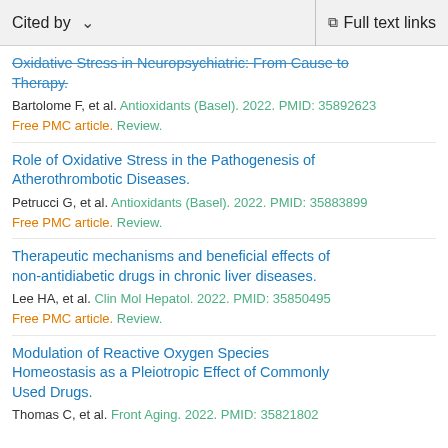Cited by   ∨   Full text links
Oxidative Stress in Neuropsychiatric: From Cause to Therapy. (partial/truncated title at top)
Bartolome F, et al. Antioxidants (Basel). 2022. PMID: 35892623
Free PMC article. Review.
Role of Oxidative Stress in the Pathogenesis of Atherothrombotic Diseases.
Petrucci G, et al. Antioxidants (Basel). 2022. PMID: 35883899
Free PMC article. Review.
Therapeutic mechanisms and beneficial effects of non-antidiabetic drugs in chronic liver diseases.
Lee HA, et al. Clin Mol Hepatol. 2022. PMID: 35850495
Free PMC article. Review.
Modulation of Reactive Oxygen Species Homeostasis as a Pleiotropic Effect of Commonly Used Drugs.
Thomas C, et al. Front Aging. 2022. PMID: 35821802